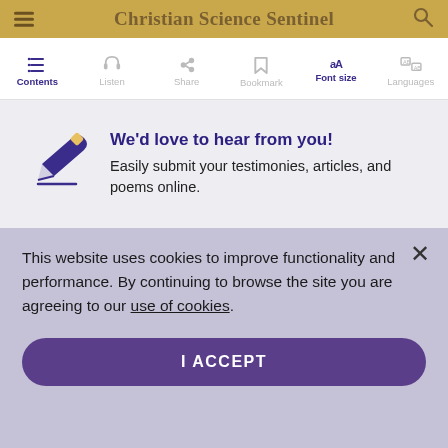Christian Science Sentinel
[Figure (screenshot): Navigation bar with icons: Contents, Listen, Share, Bookmark, Font size (active/bold), Languages]
[Figure (illustration): Pencil/writing icon in purple with underline, inside a light grey promo section]
We'd love to hear from you!
Easily submit your testimonies, articles, and poems online.
This website uses cookies to improve functionality and performance. By continuing to browse the site you are agreeing to our use of cookies.
I ACCEPT